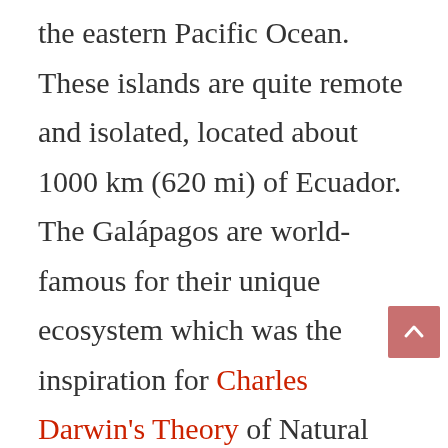the eastern Pacific Ocean. These islands are quite remote and isolated, located about 1000 km (620 mi) of Ecuador. The Galápagos are world-famous for their unique ecosystem which was the inspiration for Charles Darwin's Theory of Natural Selection. Giant turtles, sea lions, penguins, marine iguanas, and different bird species can be seen and approached here. Strict controls on tourist access are maintained in an effort to protect natural habitats. If you intend to visit this island, you must be accompanied by a registered and certified tour guide